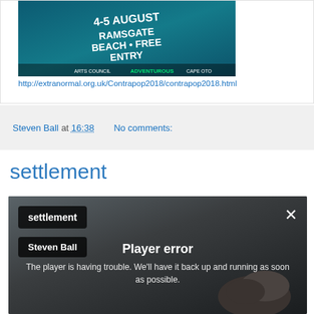[Figure (screenshot): Event poster image for Contrapop 2018 at Ramsgate Beach, 4-5 August 2018, free entry, with logos and text overlaid on a colorful background.]
http://extranormal.org.uk/Contrapop2018/contrapop2018.html
Steven Ball at 16:38    No comments:
settlement
[Figure (screenshot): Video player screenshot showing 'settlement' by Steven Ball with a player error message: 'Player error — The player is having trouble. We'll have it back up and running as soon as possible.' Background shows a dark coastal landscape with rocks.]